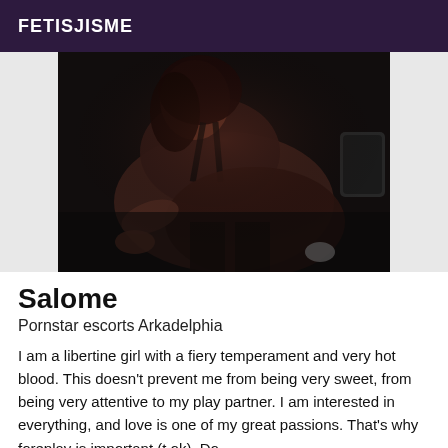FETISJISME
[Figure (photo): Woman in black lingerie posing on a dark leather surface, photographed from behind, with dark background]
Salome
Pornstar escorts Arkadelphia
I am a libertine girl with a fiery temperament and very hot blood. This doesn't prevent me from being very sweet, from being very attentive to my play partner. I am interested in everything, and love is one of my great passions. That's why foreplay is important (t ok). Do